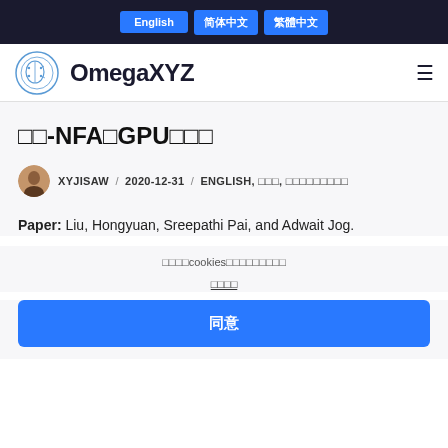English / 简体中文 / 繁體中文
OmegaXYZ
□□-NFA□GPU□□□
XYJISAW / 2020-12-31 / ENGLISH, □□□, □□□□□□□□□
Paper: Liu, Hongyuan, Sreepathi Pai, and Adwait Jog.
□□□□cookies□□□□□□□□□
□□□□
同意